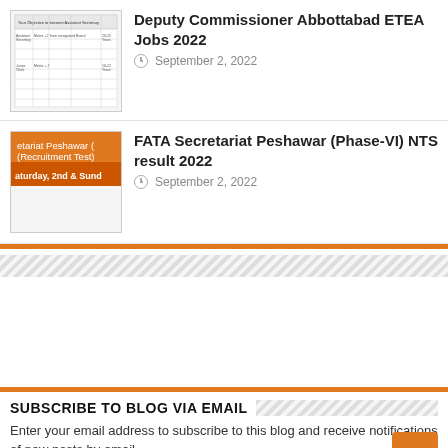[Figure (screenshot): Thumbnail image of a document/table]
Deputy Commissioner Abbottabad ETEA Jobs 2022
September 2, 2022
[Figure (infographic): Orange thumbnail with text: etariat Peshawar (Recruitment Test) Result, aturday, 2nd & Sund]
FATA Secretariat Peshawar (Phase-VI) NTS result 2022
September 2, 2022
SUBSCRIBE TO BLOG VIA EMAIL
Enter your email address to subscribe to this blog and receive notifications of new posts by email.
Email Address